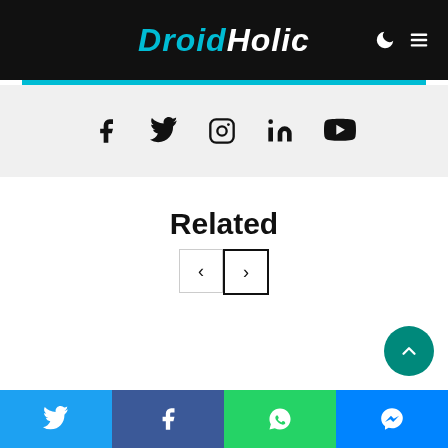DroidHolic
[Figure (infographic): Social media icon bar with Facebook, Twitter, Instagram, LinkedIn, YouTube icons on a light grey background]
Related
[Figure (other): Navigation buttons: left arrow (inactive) and right arrow (active border)]
[Figure (other): Scroll-to-top teal circular button with upward chevron]
Share bar: Twitter, Facebook, WhatsApp, Messenger